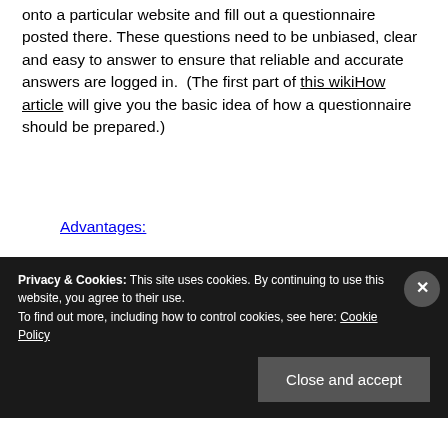onto a particular website and fill out a questionnaire posted there. These questions need to be unbiased, clear and easy to answer to ensure that reliable and accurate answers are logged in. (The first part of this wikiHow article will give you the basic idea of how a questionnaire should be prepared.)
Advantages:
Detailed information can be collected
Customer's opinions about the product can
Privacy & Cookies: This site uses cookies. By continuing to use this website, you agree to their use. To find out more, including how to control cookies, see here: Cookie Policy